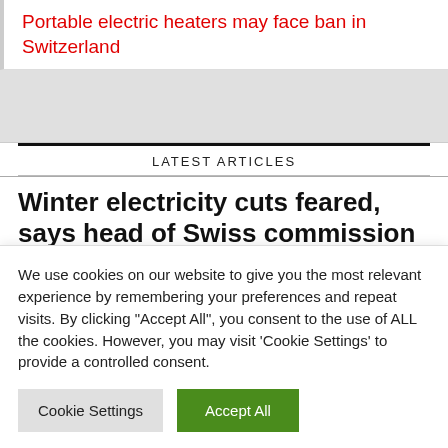Portable electric heaters may face ban in Switzerland
[Figure (other): Gray advertisement or banner area]
LATEST ARTICLES
Winter electricity cuts feared, says head of Swiss commission
We use cookies on our website to give you the most relevant experience by remembering your preferences and repeat visits. By clicking "Accept All", you consent to the use of ALL the cookies. However, you may visit 'Cookie Settings' to provide a controlled consent.